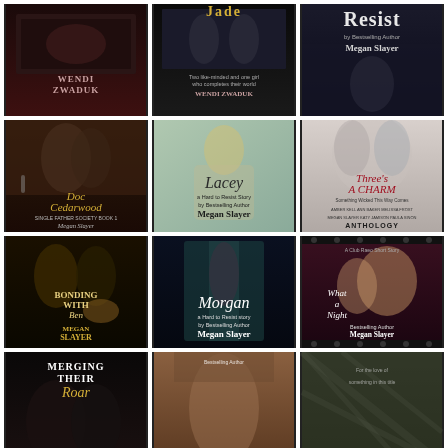[Figure (illustration): Grid of 12 book covers by authors Wendi Zwaduk and Megan Slayer. Row 1: unnamed Wendi Zwaduk book, 'Jade' by Wendi Zwaduk, 'Resist' by Megan Slayer. Row 2: 'Doc Cedarwood' by Megan Slayer, 'Lacey' by Megan Slayer, 'Three's A Charm Anthology'. Row 3: 'Bonding with Ben' by Megan Slayer, 'Morgan' by Megan Slayer, 'What a Night' by Megan Slayer. Row 4: 'Merging Their Roar' (partial), unnamed cover (partial), unnamed cover (partial).]